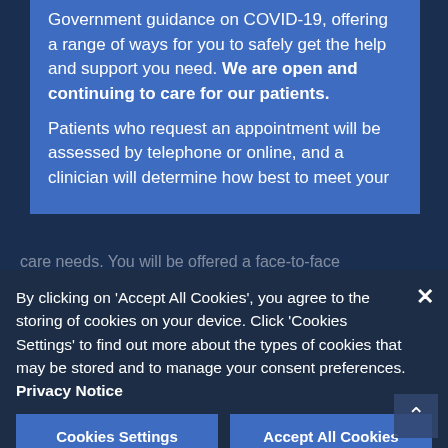Government guidance on COVID-19, offering a range of ways for you to safely get the help and support you need. We are open and continuing to care for our patients.
Patients who request an appointment will be assessed by telephone or online, and a clinician will determine how best to meet your care needs. You will be offered a face-to-face appointment if it is essential for you to be seen, or a video appointment if appropriate.
By clicking on 'Accept All Cookies', you agree to the storing of cookies on your device. Click 'Cookies Settings' to find out more about the types of cookies that may be stored and to manage your consent preferences. Privacy Notice
Cookies Settings
Accept All Cookies